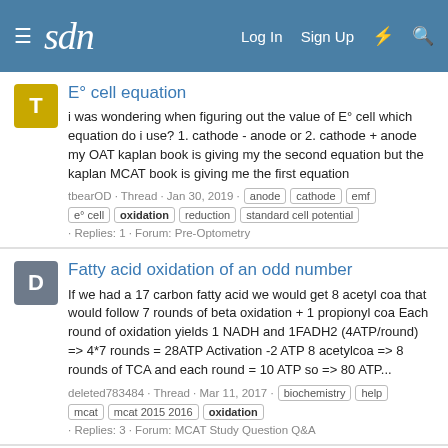sdn | Log In | Sign Up
E° cell equation
i was wondering when figuring out the value of E° cell which equation do i use? 1. cathode - anode or 2. cathode + anode my OAT kaplan book is giving my the second equation but the kaplan MCAT book is giving me the first equation
tbearOD · Thread · Jan 30, 2019 · anode cathode emf e° cell oxidation reduction standard cell potential · Replies: 1 · Forum: Pre-Optometry
Fatty acid oxidation of an odd number
If we had a 17 carbon fatty acid we would get 8 acetyl coa that would follow 7 rounds of beta oxidation + 1 propionyl coa Each round of oxidation yields 1 NADH and 1FADH2 (4ATP/round) => 4*7 rounds = 28ATP Activation -2 ATP 8 acetylcoa => 8 rounds of TCA and each round = 10 ATP so => 80 ATP...
deleted783484 · Thread · Mar 11, 2017 · biochemistry help mcat mcat 2015 2016 oxidation · Replies: 3 · Forum: MCAT Study Question Q&A
FA OXIDATION DISEASES